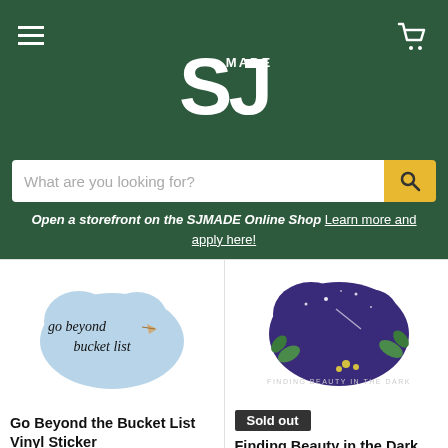SJ MADE
What are you looking for?
Open a storefront on the SJMADE Online Shop Learn more and apply here!
[Figure (photo): Go Beyond the Bucket List sticker — light blue cloud-shaped sticker with cursive text and a paper airplane]
Go Beyond the Bucket List Vinyl Sticker
bobo design studio
$4.00
[Figure (photo): Finding Beauty in the Dark sticker — dark purple night scene with plants and text: FINDING BEAUTY IN THE DARK]
Sold out
Finding Beauty in the Dark Vinyl Sticker
bobo design studio
$4.00